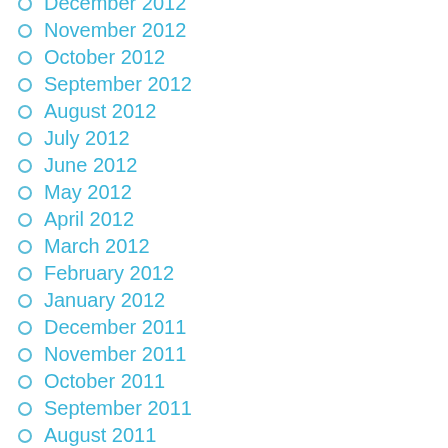December 2012
November 2012
October 2012
September 2012
August 2012
July 2012
June 2012
May 2012
April 2012
March 2012
February 2012
January 2012
December 2011
November 2011
October 2011
September 2011
August 2011
July 2011
June 2011